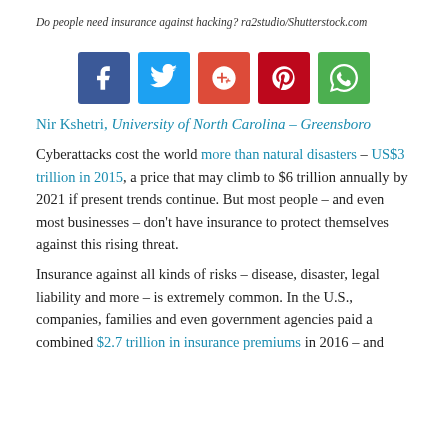Do people need insurance against hacking? ra2studio/Shutterstock.com
[Figure (infographic): Social media sharing icons: Facebook, Twitter, Google+, Pinterest, WhatsApp]
Nir Kshetri, University of North Carolina – Greensboro
Cyberattacks cost the world more than natural disasters – US$3 trillion in 2015, a price that may climb to $6 trillion annually by 2021 if present trends continue. But most people – and even most businesses – don't have insurance to protect themselves against this rising threat.
Insurance against all kinds of risks – disease, disaster, legal liability and more – is extremely common. In the U.S., companies, families and even government agencies paid a combined $2.7 trillion in insurance premiums in 2016 – and